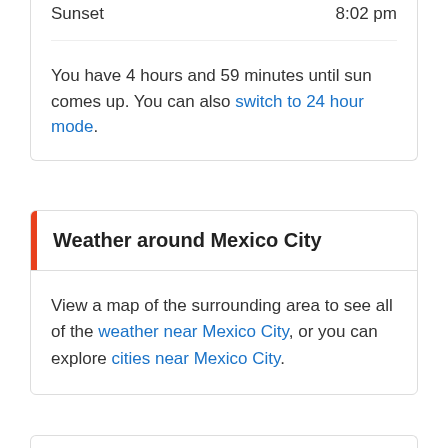Sunset	8:02 pm
You have 4 hours and 59 minutes until sun comes up. You can also switch to 24 hour mode.
Weather around Mexico City
View a map of the surrounding area to see all of the weather near Mexico City, or you can explore cities near Mexico City.